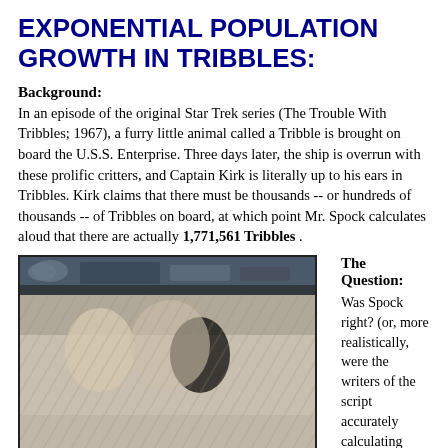EXPONENTIAL POPULATION GROWTH IN TRIBBLES:
Background:
In an episode of the original Star Trek series (The Trouble With Tribbles; 1967), a furry little animal called a Tribble is brought on board the U.S.S. Enterprise. Three days later, the ship is overrun with these prolific critters, and Captain Kirk is literally up to his ears in Tribbles. Kirk claims that there must be thousands -- or hundreds of thousands -- of Tribbles on board, at which point Mr. Spock calculates aloud that there are actually 1,771,561 Tribbles .
[Figure (photo): A still image from the Star Trek episode showing characters, with the upper portion showing a scene from the bridge and lower portion showing a brighter indoor scene.]
The Question: Was Spock right? (or, more realistically, were the writers of the script accurately calculating population growth?)